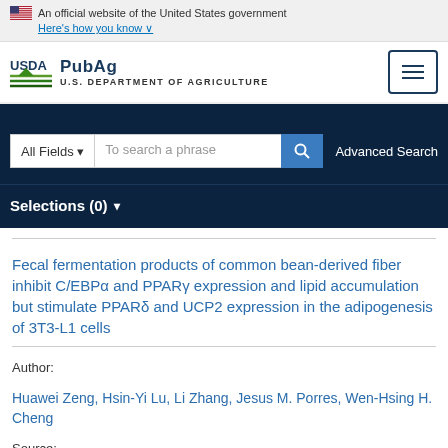An official website of the United States government Here's how you know
[Figure (logo): USDA PubAg logo with U.S. Department of Agriculture text and hamburger menu button]
All Fields   To search a phrase   Advanced Search
Selections (0)
Fecal fermentation products of common bean-derived fiber inhibit C/EBPα and PPARγ expression and lipid accumulation but stimulate PPARδ and UCP2 expression in the adipogenesis of 3T3-L1 cells
Author:
Huawei Zeng, Hsin-Yi Lu, Li Zhang, Jesus M. Porres, Wen-Hsing H. Cheng
Source: